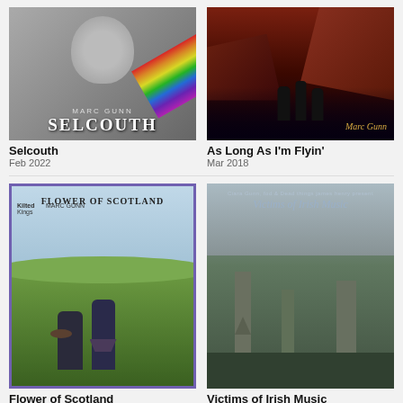[Figure (photo): Album cover for Selcouth by Marc Gunn - black and white photo of a man's face with rainbow and colorful overlay, text MARC GUNN SELCOUTH]
Selcouth
Feb 2022
[Figure (photo): Album cover for As Long As I'm Flyin' by Marc Gunn - dark reddish scene with silhouettes of three people standing against a dramatic rocky landscape]
As Long As I'm Flyin'
Mar 2018
[Figure (photo): Album cover for Flower of Scotland by Marc Gunn with Kilted Kings - two men in Scottish attire standing on green hills, one in kilt holding a harp-like instrument, purple border]
Flower of Scotland
Feb 2017
[Figure (photo): Album cover for Victims of Irish Music - ancient stone ruins/abbey against green landscape with misty sky, text overlay]
Victims of Irish Music
Aug 2007